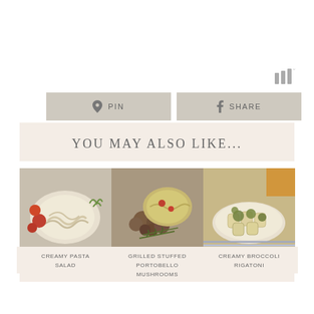[Figure (logo): Waveform/audio icon with superscript degree symbol, top right]
[Figure (other): PIN button with Pinterest icon and SHARE button with Facebook icon]
YOU MAY ALSO LIKE...
[Figure (photo): Photo of creamy pasta salad in a bowl with tomatoes]
CREAMY PASTA SALAD
[Figure (photo): Photo of grilled stuffed portobello mushrooms with herbs]
GRILLED STUFFED PORTOBELLO MUSHROOMS
[Figure (photo): Photo of creamy broccoli rigatoni in a bowl]
CREAMY BROCCOLI RIGATONI